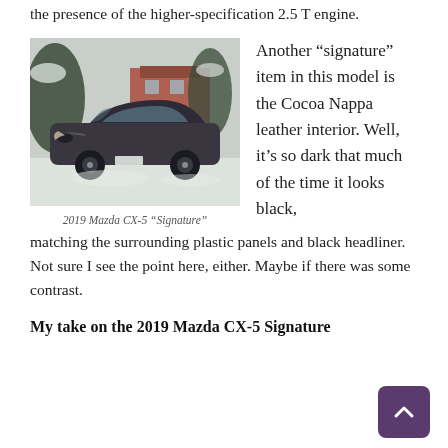the presence of the higher-specification 2.5 T engine.
[Figure (photo): Dark grey 2019 Mazda CX-5 parked in a snowy driveway with trees and a red brick house in background]
2019 Mazda CX-5 “Signature”
Another “signature” item in this model is the Cocoa Nappa leather interior. Well, it’s so dark that much of the time it looks black, matching the surrounding plastic panels and black headliner. Not sure I see the point here, either. Maybe if there was some contrast.
My take on the 2019 Mazda CX-5 Signature